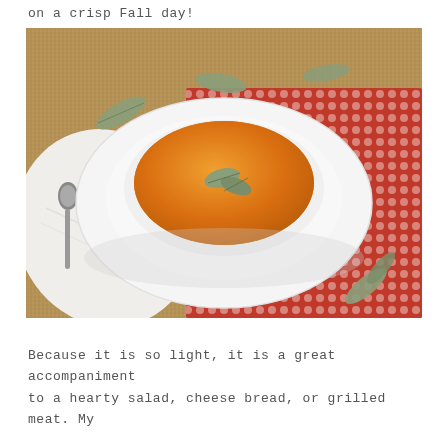on a crisp Fall day!
[Figure (photo): A white bowl of smooth orange butternut squash or pumpkin soup garnished with two sage leaves, sitting on a white plate, placed on a red and white woven placemat with a white linen napkin and spoon to the left, on a burlap background.]
Because it is so light, it is a great accompaniment to a hearty salad, cheese bread, or grilled meat. My